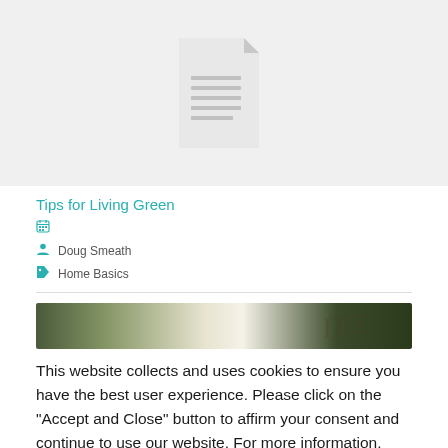[Figure (illustration): Document placeholder icon — a white/light grey document sheet with folded top-right corner and horizontal lines, on a light grey background]
Tips for Living Green
Doug Smeath
Home Basics
[Figure (photo): Partial photo strip showing a close-up of text/label on a curved surface, with dark green and cream tones, partial letters 'IRE' visible]
This website collects and uses cookies to ensure you have the best user experience. Please click on the "Accept and Close" button to affirm your consent and continue to use our website. For more information, please view our Cookies Statement.